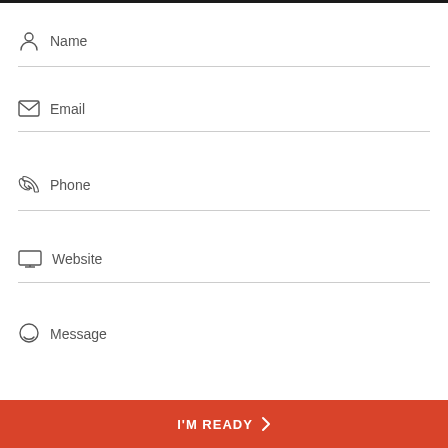Name
Email
Phone
Website
Message
I'M READY